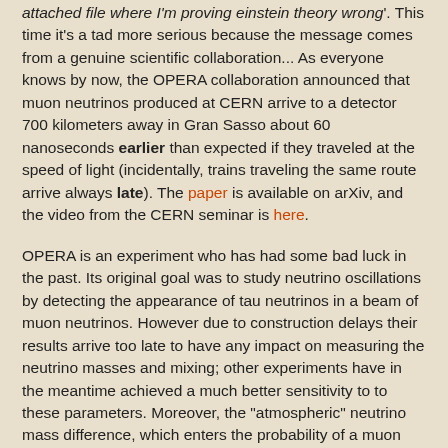'attached file where I'm proving einstein theory wrong'. This time it's a tad more serious because the message comes from a genuine scientific collaboration... As everyone knows by now, the OPERA collaboration announced that muon neutrinos produced at CERN arrive to a detector 700 kilometers away in Gran Sasso about 60 nanoseconds earlier than expected if they traveled at the speed of light (incidentally, trains traveling the same route arrive always late). The paper is available on arXiv, and the video from the CERN seminar is here.
OPERA is an experiment who has had some bad luck in the past. Its original goal was to study neutrino oscillations by detecting the appearance of tau neutrinos in a beam of muon neutrinos. However due to construction delays their results arrive too late to have any impact on measuring the neutrino masses and mixing; other experiments have in the meantime achieved a much better sensitivity to to these parameters. Moreover, the "atmospheric" neutrino mass difference, which enters the probability of a muon neutrino oscillating into a tau one, turned out to be at the lower end of the window allowed when OPERA was being planned. As a